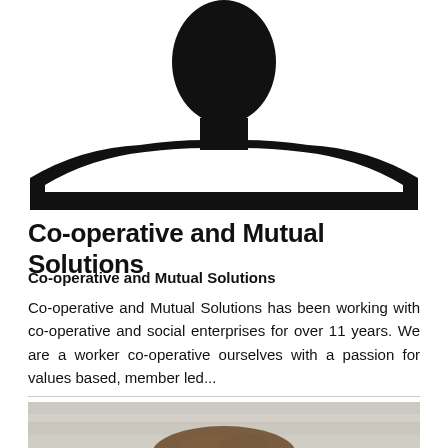[Figure (illustration): Black silhouette of a person from shoulders up on white background]
Co-operative and Mutual Solutions
Co-operative and Mutual Solutions
Co-operative and Mutual Solutions has been working with co-operative and social enterprises for over 11 years. We are a worker co-operative ourselves with a passion for values based, member led...
[Figure (photo): Partial photo of a person's head with brown hair against a stone wall background, cropped at bottom of page]